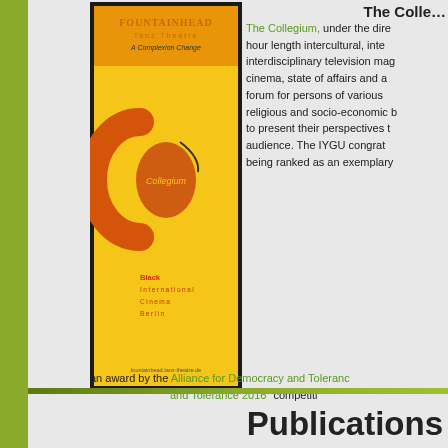[Figure (illustration): Book cover for Fountainhead Tanz Theater 'A Complexion Change' featuring the Collegium Black International Cinema Berlin logo on a yellow/orange background]
The Collegium, under the direction of... hour length intercultural, inter... interdisciplinary television magazine... cinema, state of affairs and a... forum for persons of various... religious and socio-economic b... to present their perspectives to... audience. The IYGU congratulates... being ranked as an exemplary... an award by the Alliance for Democracy and Tolerance... and Tolerance 2016" competition...
Publications
Three IYGU Open Access Springer books, Working, Hou... Scott, Peter Taylor and Jennifer Robinson and Go...